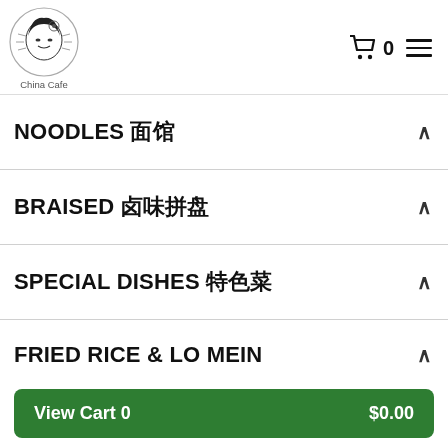[Figure (logo): China Cafe circular logo with Chinese characters and artistic face illustration]
China Cafe — cart icon with 0, hamburger menu icon
NOODLES 面馆
BRAISED 卤味拼盘
SPECIAL DISHES 特色菜
FRIED RICE & LO MEIN
BOBA SLUSH
View Cart 0  $0.00